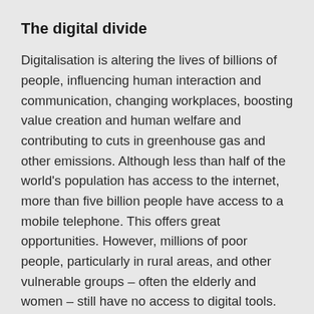The digital divide
Digitalisation is altering the lives of billions of people, influencing human interaction and communication, changing workplaces, boosting value creation and human welfare and contributing to cuts in greenhouse gas and other emissions. Although less than half of the world's population has access to the internet, more than five billion people have access to a mobile telephone. This offers great opportunities. However, millions of poor people, particularly in rural areas, and other vulnerable groups – often the elderly and women – still have no access to digital tools. According to UNICEF, ten per cent more men than women use the internet. Developing countries and vulnerable population groups thus risk exclusion from perhaps the most promising change factor for development and growth the world